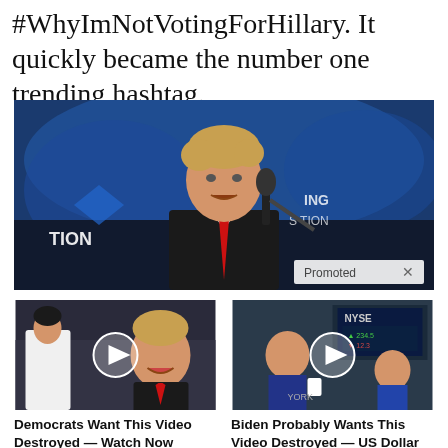#WhyImNotVotingForHillary. It quickly became the number one trending hashtag.
[Figure (photo): Photo of Donald Trump speaking at a podium with a microphone, wearing a dark suit and red tie, with blue lighting in the background. A 'Promoted x' badge is in the bottom right corner.]
[Figure (photo): Thumbnail photo of Melania Trump and Donald Trump with a video play button overlay.]
Democrats Want This Video Destroyed — Watch Now Before It's Banned
166,359
[Figure (photo): Thumbnail photo of a man at what appears to be a NYSE trading floor with a video play button overlay.]
Biden Probably Wants This Video Destroyed — US Dollar On Path Towards Replacement?
31,048